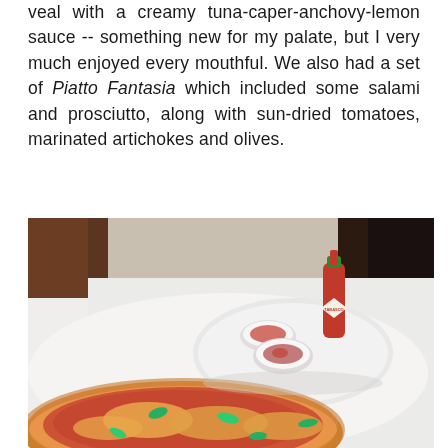veal with a creamy tuna-caper-anchovy-lemon sauce -- something new for my palate, but I very much enjoyed every mouthful. We also had a set of Piatto Fantasia which included some salami and prosciutto, along with sun-dried tomatoes, marinated artichokes and olives.
[Figure (photo): Restaurant table photo showing a pizza with tomato sauce and fresh herbs (basil), alongside a white plate with two small white bowls containing red chili flakes/sauce, and a Tabasco bottle standing upright. The table has a white tablecloth. Dark wood paneling visible in background.]